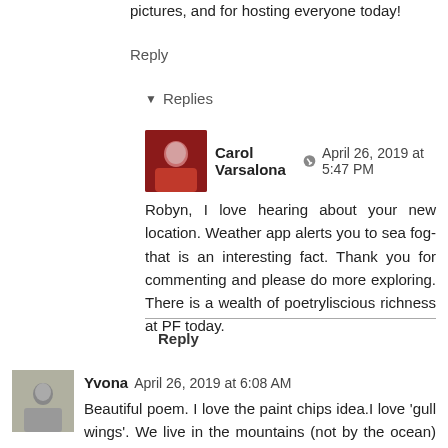pictures, and for hosting everyone today!
Reply
▼ Replies
Carol Varsalona ✏ April 26, 2019 at 5:47 PM
Robyn, I love hearing about your new location. Weather app alerts you to sea fog-that is an interesting fact. Thank you for commenting and please do more exploring. There is a wealth of poetryliscious richness at PF today.
Reply
Yvona April 26, 2019 at 6:08 AM
Beautiful poem. I love the paint chips idea.I love 'gull wings'. We live in the mountains (not by the ocean) but morning fog is frequent, especially in spring and fall. Sometimes it's so thick you can hear it, like raindrops:
Listen to the sound